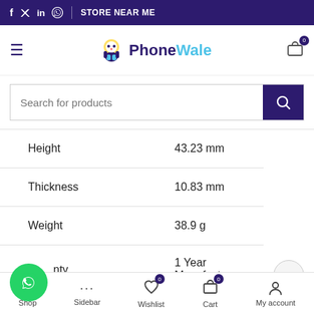f tw in WhatsApp | STORE NEAR ME
[Figure (logo): PhoneWale logo with mascot character]
Search for products
| Property | Value |
| --- | --- |
| Height | 43.23 mm |
| Thickness | 10.83 mm |
| Weight | 38.9 g |
| Warranty Summary | 1 Year Manufacturer Warranty |
Shop  Sidebar  Wishlist 0  Cart 0  My account